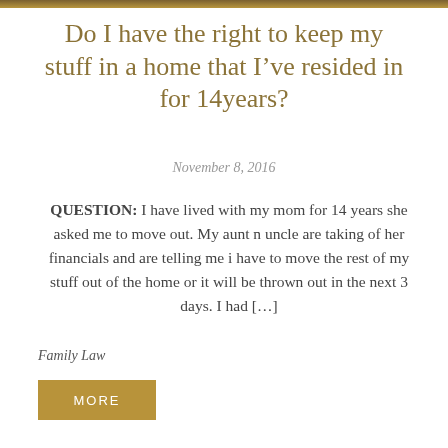Do I have the right to keep my stuff in a home that I’ve resided in for 14years?
November 8, 2016
QUESTION: I have lived with my mom for 14 years she asked me to move out. My aunt n uncle are taking of her financials and are telling me i have to move the rest of my stuff out of the home or it will be thrown out in the next 3 days. I had […]
Family Law